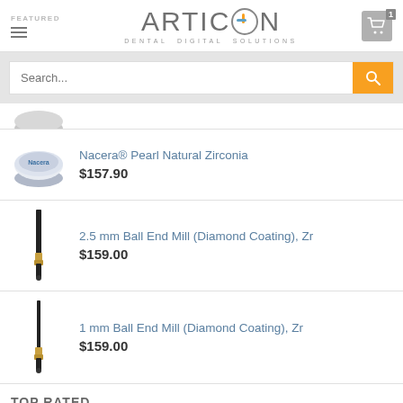ARTICON DENTAL DIGITAL SOLUTIONS
[Figure (screenshot): Search bar with orange search button]
[Figure (photo): Partially cropped zirconia disc product image at top]
Nacera® Pearl Natural Zirconia
$157.90
2.5 mm Ball End Mill (Diamond Coating), Zr
$159.00
1 mm Ball End Mill (Diamond Coating), Zr
$159.00
TOP RATED